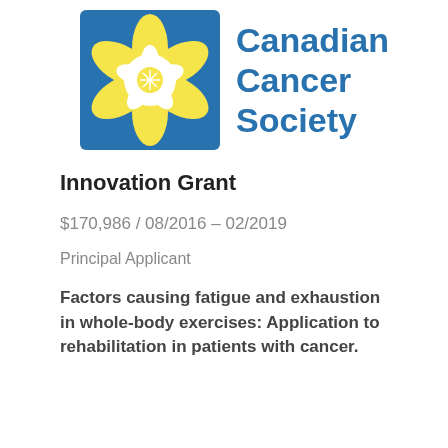[Figure (logo): Canadian Cancer Society logo: blue square background with yellow daffodil flower and white center, beside bold blue text reading 'Canadian Cancer Society']
Innovation Grant
$170,986 / 08/2016 – 02/2019
Principal Applicant
Factors causing fatigue and exhaustion in whole-body exercises: Application to rehabilitation in patients with cancer.